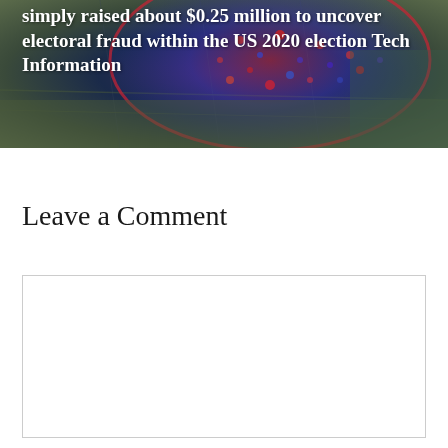[Figure (photo): Aerial/satellite map image with dark overlay showing a city area, with a large circle overlay in red/blue/purple tones. White bold text overlaid reads: 'simply raised about $0.25 million to uncover electoral fraud within the US 2020 election Tech Information']
simply raised about $0.25 million to uncover electoral fraud within the US 2020 election Tech Information
Leave a Comment